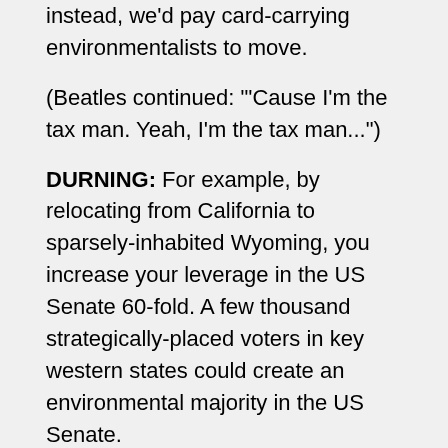instead, we'd pay card-carrying environmentalists to move.
(Beatles continued: "'Cause I'm the tax man. Yeah, I'm the tax man...")
DURNING: For example, by relocating from California to sparsely-inhabited Wyoming, you increase your leverage in the US Senate 60-fold. A few thousand strategically-placed voters in key western states could create an environmental majority in the US Senate.
(Beatles continued: 'Cause I'm the tax man. Yeah, I'm the tax man...")
DURNING: Oh, our political fund would be nonprofit of course. That way, donations would be tax deductible.
(Beatles continued: "...I'll tax your seat. If you get too cold I'll tax the heat. If you take a walk I'll tax your feet. Tax